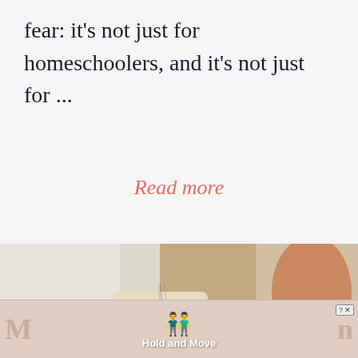fear: it's not just for homeschoolers, and it's not just for ...
Read more
[Figure (photo): Close-up photo of a person's hands using a sewing machine on a wooden surface, with thread and needle visible]
[Figure (screenshot): Advertisement banner showing 'Hold and Move' with blue cartoon figures icons, question mark and X close button, partially visible text on left and right sides]